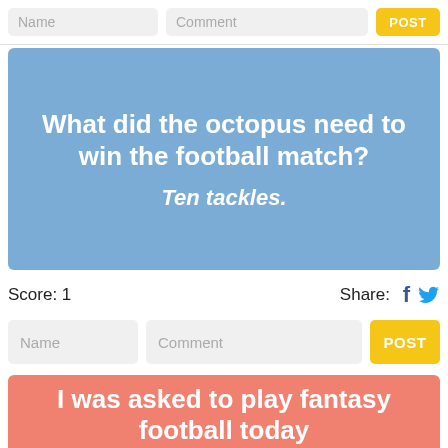[Figure (screenshot): Top bar with Name input, Comment input, and yellow POST button]
[Figure (infographic): Blue card with joke: 'What did the octopus need to win the football match?' Answer: 'Ten tackles.']
Score: 1
Share:
[Figure (screenshot): Bottom input row with Name, Comment fields and yellow POST button]
[Figure (infographic): Salmon/coral card beginning: 'I was asked to play fantasy football today']